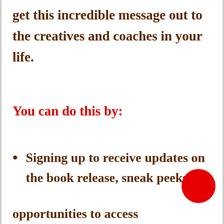get this incredible message out to the creatives and coaches in your life.
You can do this by:
Signing up to receive updates on the book release, sneak peeks, an[d] opportunities to access...
[Figure (illustration): Red circle decorative element overlapping text in bottom right corner]